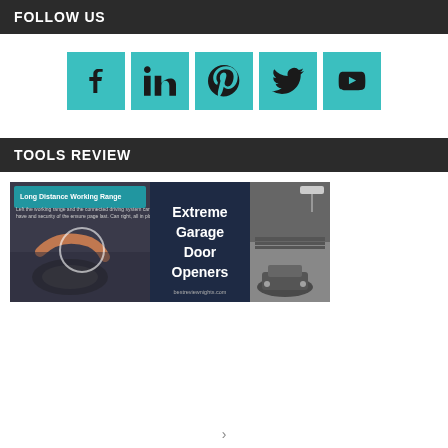FOLLOW US
[Figure (infographic): Five teal square social media icons: Facebook (f), LinkedIn (in), Pinterest (p), Twitter bird, YouTube play button]
TOOLS REVIEW
[Figure (photo): Promotional banner for Extreme Garage Door Openers showing a person driving and a garage with an open door, text reads: Long Distance Working Range / Extreme Garage Door Openers / bestreviewnights.com]